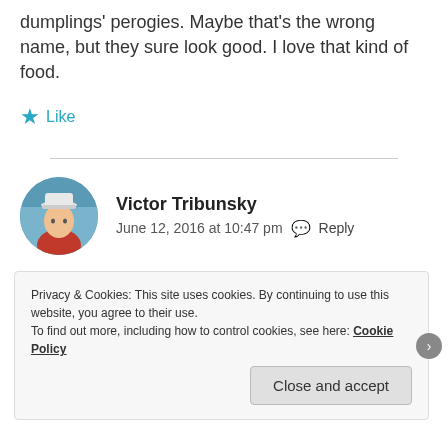dumplings' perogies. Maybe that's the wrong name, but they sure look good. I love that kind of food.
★ Like
Victor Tribunsky
June 12, 2016 at 10:47 pm  Reply
Pirogies are tasty bakery, but this dish is unique.
In general, cuisine in Uzbekistan, Kyrgyzstan, or
Privacy & Cookies: This site uses cookies. By continuing to use this website, you agree to their use.
To find out more, including how to control cookies, see here: Cookie Policy
Close and accept